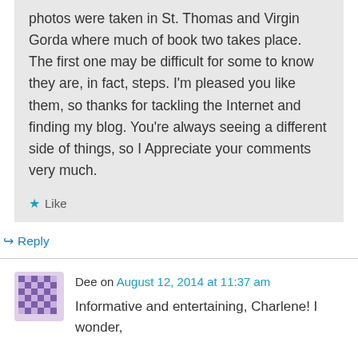photos were taken in St. Thomas and Virgin Gorda where much of book two takes place. The first one may be difficult for some to know they are, in fact, steps. I'm pleased you like them, so thanks for tackling the Internet and finding my blog. You're always seeing a different side of things, so I Appreciate your comments very much.
★ Like
↳ Reply
Dee on August 12, 2014 at 11:37 am
Informative and entertaining, Charlene! I wonder,